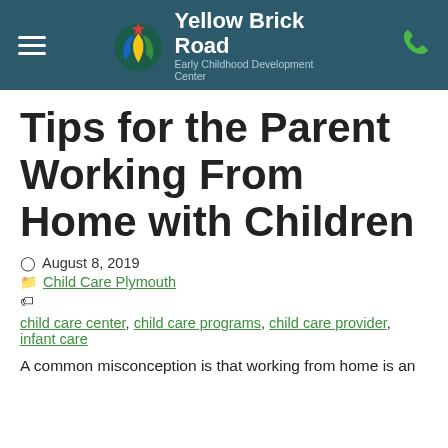Yellow Brick Road Early Childhood Development Center
Tips for the Parent Working From Home with Children
August 8, 2019
Child Care Plymouth
child care center, child care programs, child care provider, infant care
A common misconception is that working from home is an